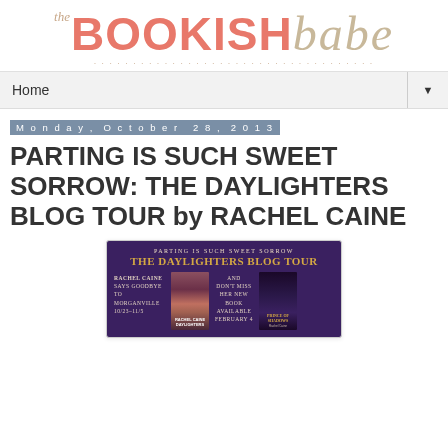[Figure (logo): The Bookish Babe blog logo — 'the' in small italic tan, 'BOOKISH' in bold salmon/coral, 'babe' in large italic tan script, with a dotted line beneath]
Home
Monday, October 28, 2013
PARTING IS SUCH SWEET SORROW: THE DAYLIGHTERS BLOG TOUR by RACHEL CAINE
[Figure (illustration): The Daylighters Blog Tour banner: purple background, gold title 'THE DAYLIGHTERS BLOG TOUR', subtitle 'Parting is Such Sweet Sorrow', Rachel Caine says goodbye to Morganville 10/23-11/5, book cover for Daylighters, and new book Prince of Shadows available February 4]